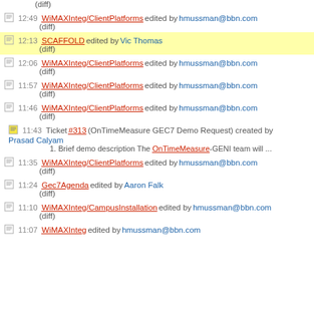(diff)
12:49 WiMAXInteg/ClientPlatforms edited by hmussman@bbn.com (diff)
12:13 SCAFFOLD edited by Vic Thomas (diff)
12:06 WiMAXInteg/ClientPlatforms edited by hmussman@bbn.com (diff)
11:57 WiMAXInteg/ClientPlatforms edited by hmussman@bbn.com (diff)
11:46 WiMAXInteg/ClientPlatforms edited by hmussman@bbn.com (diff)
11:43 Ticket #313 (OnTimeMeasure GEC7 Demo Request) created by Prasad Calyam 1. Brief demo description The OnTimeMeasure-GENI team will ...
11:35 WiMAXInteg/ClientPlatforms edited by hmussman@bbn.com (diff)
11:24 Gec7Agenda edited by Aaron Falk (diff)
11:10 WiMAXInteg/CampusInstallation edited by hmussman@bbn.com (diff)
11:07 WiMAXInteg edited by hmussman@bbn.com